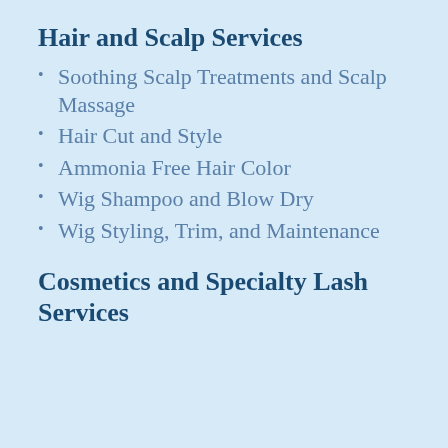Hair and Scalp Services
Soothing Scalp Treatments and Scalp Massage
Hair Cut and Style
Ammonia Free Hair Color
Wig Shampoo and Blow Dry
Wig Styling, Trim, and Maintenance
Cosmetics and Specialty Lash Services